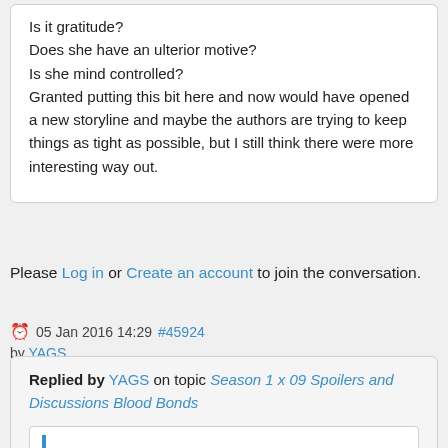Is it gratitude?
Does she have an ulterior motive?
Is she mind controlled?
Granted putting this bit here and now would have opened a new storyline and maybe the authors are trying to keep things as tight as possible, but I still think there were more interesting way out.
Please Log in or Create an account to join the conversation.
05 Jan 2016 14:29 #45924 by YAGS
Replied by YAGS on topic Season 1 x 09 Spoilers and Discussions Blood Bonds